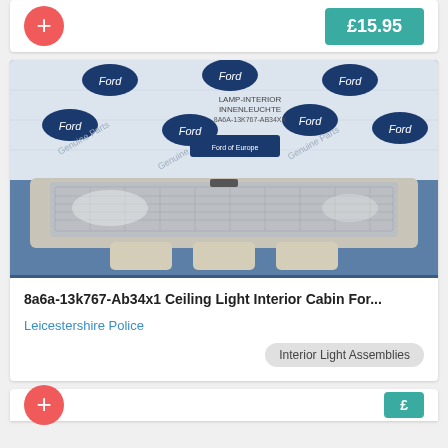[Figure (other): Red plus button on left, teal price button showing £15.95 on right]
[Figure (photo): Photo of a Ford genuine parts box with a ceiling interior cabin light assembly in front of it]
8a6a-13k767-Ab34x1 Ceiling Light Interior Cabin For...
Leicestershire Police
Interior Light Assemblies
[Figure (other): Bottom partial card with red plus button and teal price button (partially visible)]